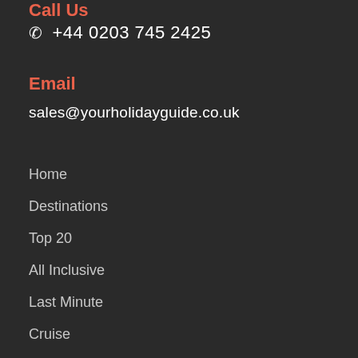Call Us
☎ +44 0203 745 2425
Email
sales@yourholidayguide.co.uk
Home
Destinations
Top 20
All Inclusive
Last Minute
Cruise